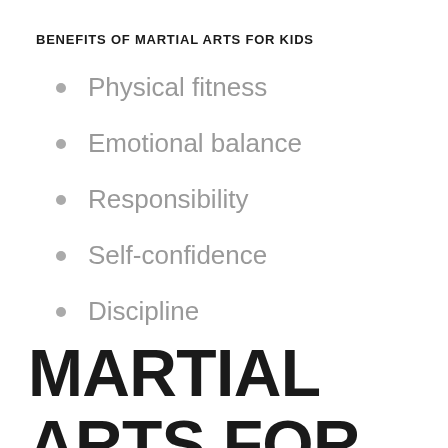BENEFITS OF MARTIAL ARTS FOR KIDS
Physical fitness
Emotional balance
Responsibility
Self-confidence
Discipline
MARTIAL ARTS FOR PRE-TEENS: AGES 9-12